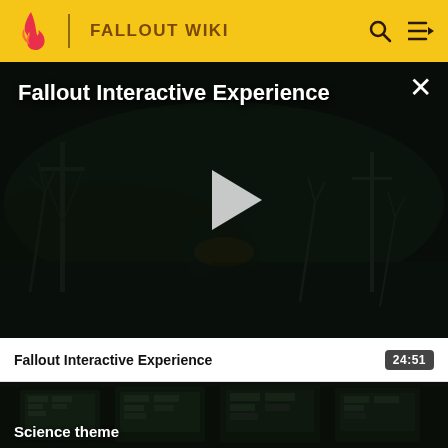FALLOUT WIKI
Fallout Interactive Experience
[Figure (screenshot): Dark post-apocalyptic video player with play button overlay. Foggy wasteland scene with dead trees and utility poles. Close button (X) in top right corner.]
Fallout Interactive Experience  24:51
[Figure (screenshot): Dark green-tinted screenshot thumbnail showing retro computer terminals/machines in a sci-fi setting. Text overlay 'Science theme' at bottom left.]